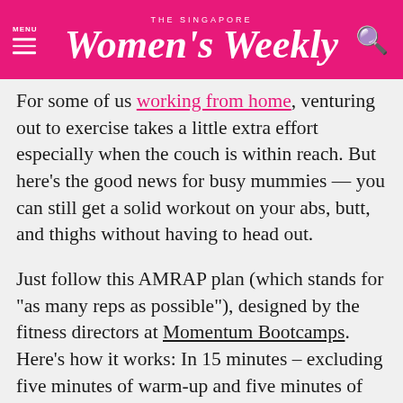THE SINGAPORE Women's Weekly
For some of us working from home, venturing out to exercise takes a little extra effort especially when the couch is within reach. But here's the good news for busy mummies — you can still get a solid workout on your abs, butt, and thighs without having to head out.
Just follow this AMRAP plan (which stands for "as many reps as possible"), designed by the fitness directors at Momentum Bootcamps. Here's how it works: In 15 minutes – excluding five minutes of warm-up and five minutes of cool-down – you will do as many rounds of a single- or several exercises as possible in a short period of time. The benefits? You'll torch calories and sculpt muscles all over.